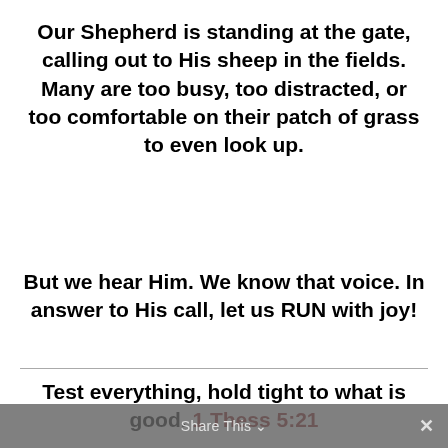Our Shepherd is standing at the gate, calling out to His sheep in the fields. Many are too busy, too distracted, or too comfortable on their patch of grass to even look up.
But we hear Him. We know that voice. In answer to His call, let us RUN with joy!
Test everything, hold tight to what is good. — 1 Thess 5:21
Share This ∨  ×